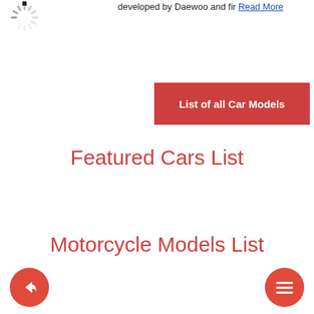[Figure (illustration): Loading spinner icon (circular dashed spinner with a small black square)]
developed by Daewoo and fir Read More
List of all Car Models
Featured Cars List
Motorcycle Models List
[Figure (illustration): Red circular share/reply button (arrow icon) at bottom left]
[Figure (illustration): Red circular menu button (hamburger lines icon) at bottom right]